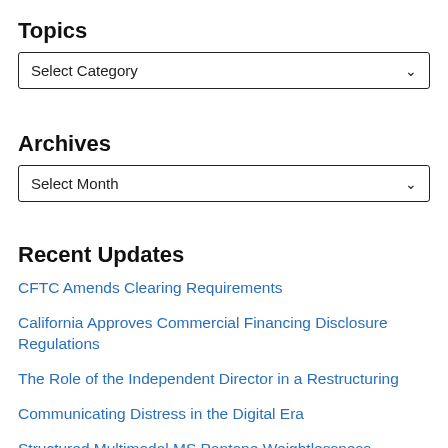Topics
[Figure (screenshot): Dropdown selector with label 'Select Category' and a chevron arrow]
Archives
[Figure (screenshot): Dropdown selector with label 'Select Month' and a chevron arrow]
Recent Updates
CFTC Amends Clearing Requirements
California Approves Commercial Financing Disclosure Regulations
The Role of the Independent Director in a Restructuring
Communicating Distress in the Digital Era
Structured Multimodal MS Pantone Weightlessness